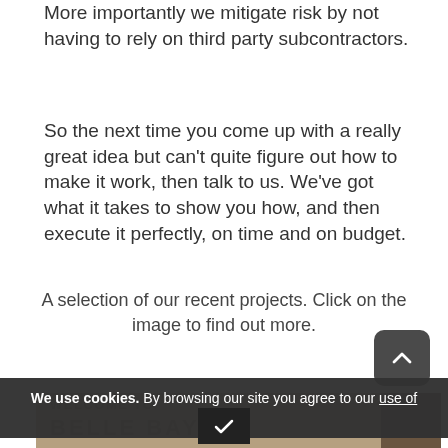More importantly we mitigate risk by not having to rely on third party subcontractors.
So the next time you come up with a really great idea but can't quite figure out how to make it work, then talk to us. We've got what it takes to show you how, and then execute it perfectly, on time and on budget.
A selection of our recent projects. Click on the image to find out more.
[Figure (photo): Bottom portion of a project image showing partial text 'WELCOME TO BELLE BAY' overlaid on a dark interior scene]
We use cookies. By browsing our site you agree to our use of cookies.